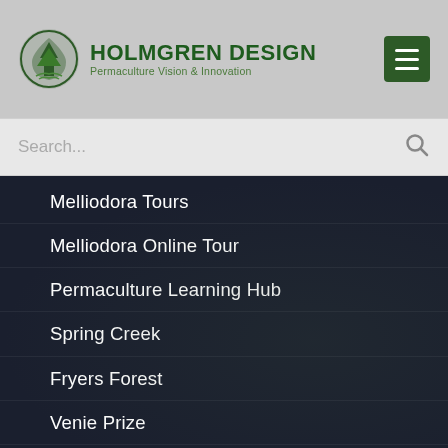HOLMGREN DESIGN Permaculture Vision & Innovation
Melliodora Tours
Melliodora Online Tour
Permaculture Learning Hub
Spring Creek
Fryers Forest
Venie Prize
About Holmgren Design
Contact